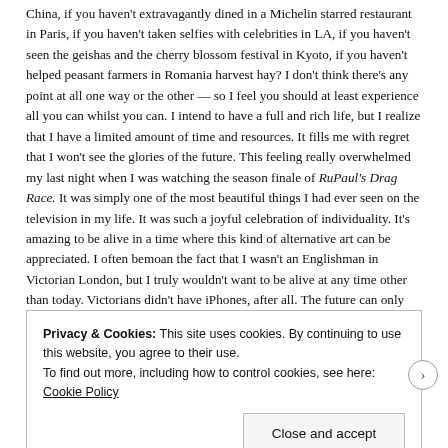China, if you haven't extravagantly dined in a Michelin starred restaurant in Paris, if you haven't taken selfies with celebrities in LA, if you haven't seen the geishas and the cherry blossom festival in Kyoto, if you haven't helped peasant farmers in Romania harvest hay? I don't think there's any point at all one way or the other — so I feel you should at least experience all you can whilst you can. I intend to have a full and rich life, but I realize that I have a limited amount of time and resources. It fills me with regret that I won't see the glories of the future. This feeling really overwhelmed my last night when I was watching the season finale of RuPaul's Drag Race. It was simply one of the most beautiful things I had ever seen on the television in my life. It was such a joyful celebration of individuality. It's amazing to be alive in a time where this kind of alternative art can be appreciated. I often bemoan the fact that I wasn't an Englishman in Victorian London, but I truly wouldn't want to be alive at any time other than today. Victorians didn't have iPhones, after all. The future can only get better and I don't want to miss a bit of it.
Privacy & Cookies: This site uses cookies. By continuing to use this website, you agree to their use. To find out more, including how to control cookies, see here: Cookie Policy
Close and accept